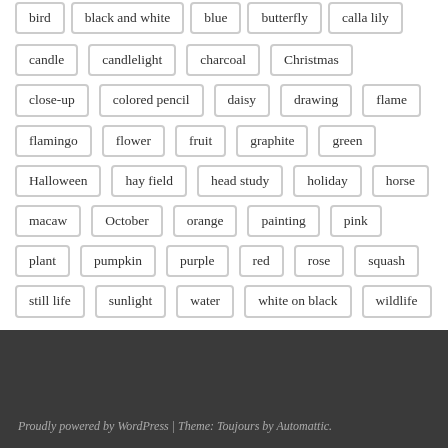bird
black and white
blue
butterfly
calla lily
candle
candlelight
charcoal
Christmas
close-up
colored pencil
daisy
drawing
flame
flamingo
flower
fruit
graphite
green
Halloween
hay field
head study
holiday
horse
macaw
October
orange
painting
pink
plant
pumpkin
purple
red
rose
squash
still life
sunlight
water
white on black
wildlife
Proudly powered by WordPress | Theme: Toujours by Automattic.